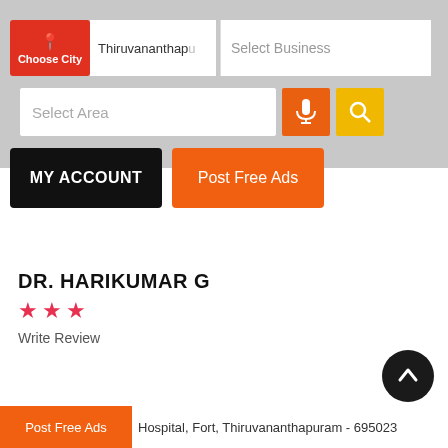[Figure (screenshot): Mobile app header with Choose City button in red, city field showing Thiruvananthapi, Select Business field, Select Area input, microphone button in orange, search button in yellow, MY ACCOUNT black button, Post Free Ads orange button]
DR. HARIKUMAR G
[Figure (other): Three red star rating icons]
Write Review
Post Free Ads
Hospital, Fort, Thiruvananthapuram - 695023